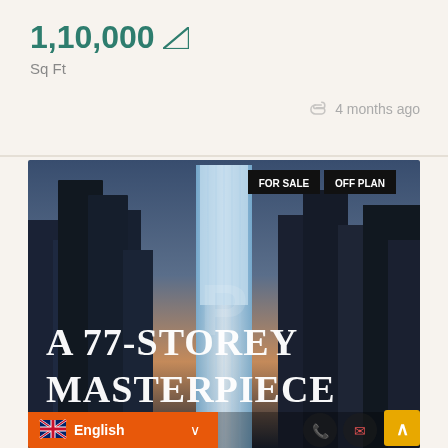1,10,000 Sq Ft
Sq Ft
4 months ago
[Figure (photo): Aerial city skyline at dusk featuring a tall illuminated skyscraper in the center, with dark surrounding buildings. Overlay text reads 'A 77-STOREY MASTERPIECE'. Badges 'FOR SALE' and 'OFF PLAN' in top right. Language selector 'English' in orange bottom bar.]